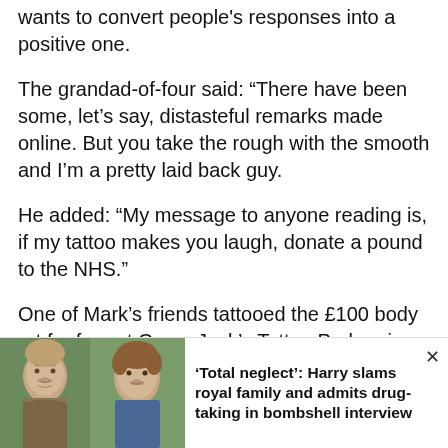wants to convert people's responses into a positive one.
The grandad-of-four said: “There have been some, let’s say, distasteful remarks made online. But you take the rough with the smooth and I’m a pretty laid back guy.
He added: “My message to anyone reading is, if my tattoo makes you laugh, donate a pound to the NHS.”
One of Mark’s friends tattooed the £100 body art for free at Oscar Jack’s Tattoo Parlour in Shoreham-by-Sea.
Mark decided to get tattooed after hearing a quip from comic and avid Liverpool fan John Bishop during a live
[Figure (photo): Two photos side by side: left shows an older man (Charles), right shows a younger man (Harry). Promotional bar at bottom of page.]
‘Total neglect’: Harry slams royal family and admits drug-taking in bombshell interview